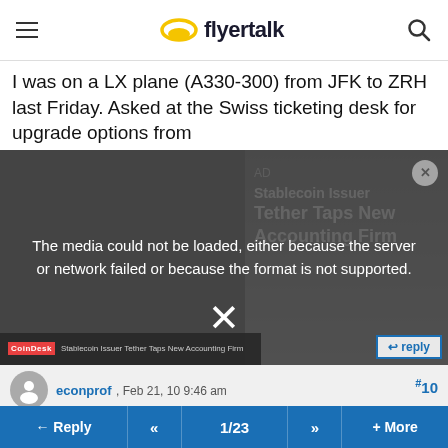flyertalk
I was on a LX plane (A330-300) from JFK to ZRH last Friday. Asked at the Swiss ticketing desk for upgrade options from
[Figure (screenshot): Media player overlay showing error message 'The media could not be loaded, either because the server or network failed or because the format is not supported.' with a CoinDesk ad for 'Stablecoin Issuer Tether Taps New Accounting Firm' visible behind it. An X close button at the bottom center.]
#10
econprof , Feb 21, 10 9:46 am
Quote:
Originally Posted by Travelidgio
I was on a LX plane (A330-300) from JFK to ZRH last Friday. Asked at the Swiss ticketing desk for upgrade...
← Reply  «  1/23  »  + More